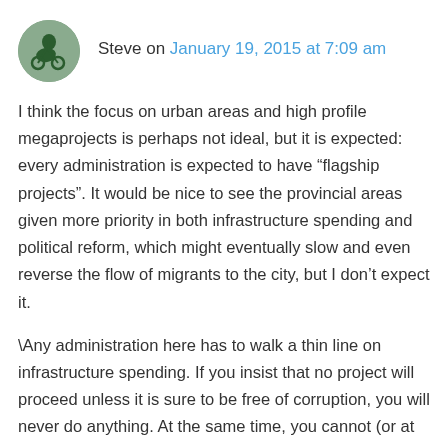Steve on January 19, 2015 at 7:09 am
I think the focus on urban areas and high profile megaprojects is perhaps not ideal, but it is expected: every administration is expected to have “flagship projects”. It would be nice to see the provincial areas given more priority in both infrastructure spending and political reform, which might eventually slow and even reverse the flow of migrants to the city, but I don’t expect it.
\Any administration here has to walk a thin line on infrastructure spending. If you insist that no project will proceed unless it is sure to be free of corruption, you will never do anything. At the same time, you cannot (or at least should not)